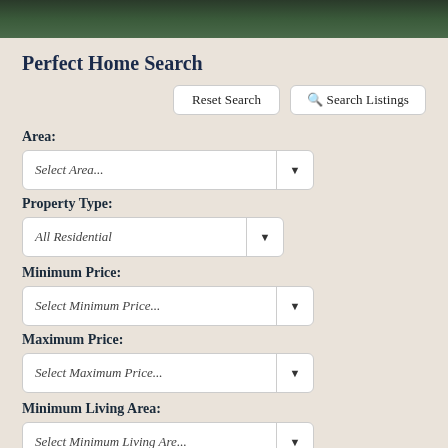[Figure (photo): Dark green foliage/trees header banner image]
Perfect Home Search
Reset Search
Search Listings
Area:
Select Area...
Property Type:
All Residential
Minimum Price:
Select Minimum Price...
Maximum Price:
Select Maximum Price...
Minimum Living Area:
Select Minimum Living Are...
Maximum Living Area:
Select Maximum Living Are...